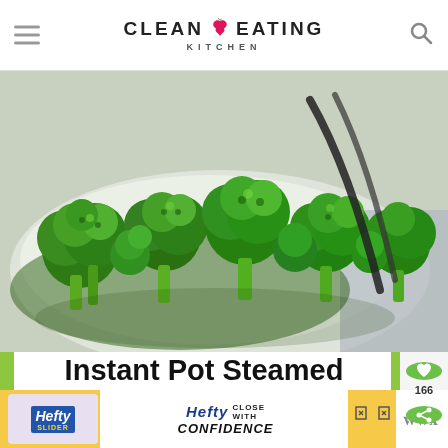CLEAN EATING KITCHEN
[Figure (photo): A white serving dish filled with steamed broccoli florets, with dark tongs or serving utensils visible in the background]
Instant Pot Steamed Broccoli
5 from 1 reviews
[Figure (other): Hefty Slider Bags advertisement banner with yellow background and Hefty Close With Confidence text]